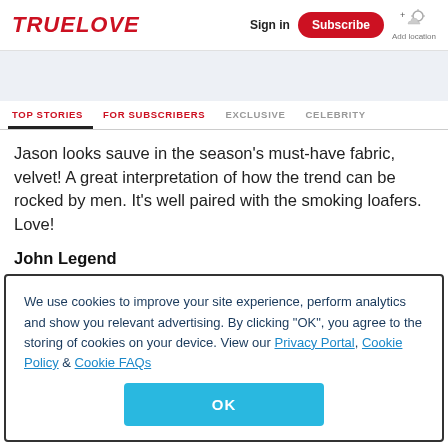TRUELOVE | Sign in | Subscribe | Add location
TOP STORIES | FOR SUBSCRIBERS | EXCLUSIVE | CELEBRITY
Jason looks sauve in the season's must-have fabric, velvet! A great interpretation of how the trend can be rocked by men. It's well paired with the smoking loafers. Love!
John Legend
We use cookies to improve your site experience, perform analytics and show you relevant advertising. By clicking "OK", you agree to the storing of cookies on your device. View our Privacy Portal, Cookie Policy & Cookie FAQs
OK